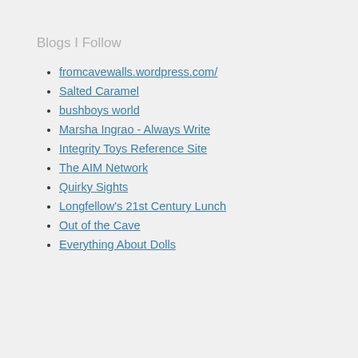Blogs I Follow
fromcavewalls.wordpress.com/
Salted Caramel
bushboys world
Marsha Ingrao - Always Write
Integrity Toys Reference Site
The AIM Network
Quirky Sights
Longfellow's 21st Century Lunch
Out of the Cave
Everything About Dolls